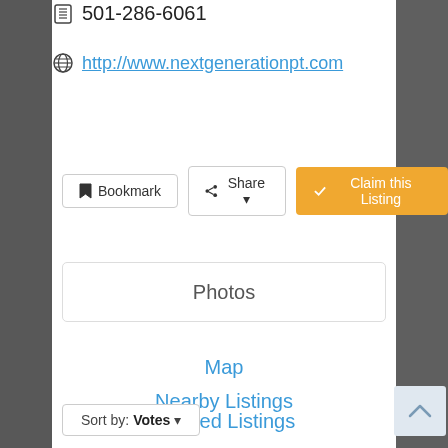501-286-6061
http://www.nextgenerationpt.com
Bookmark
Share
Claim this Listing
Photos
Map
Nearby Listings
Related Listings
Sort by: Votes